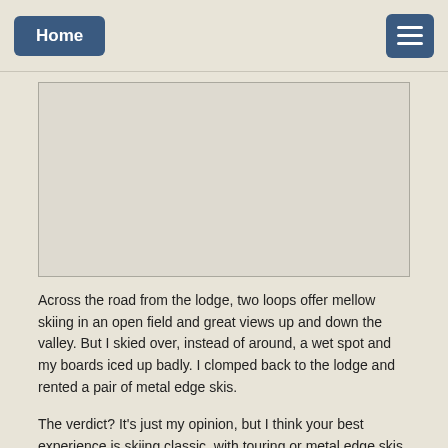Home
[Figure (photo): Large image placeholder box — light beige/grey rectangle with border, content not visible]
Across the road from the lodge, two loops offer mellow skiing in an open field and great views up and down the valley. But I skied over, instead of around, a wet spot and my boards iced up badly. I clomped back to the lodge and rented a pair of metal edge skis.
The verdict? It's just my opinion, but I think your best experience is skiing classic, with touring or metal edge skis. Bearpen has a nice, backwoods vibe and Rennell intentionally wants to be more than a cross-country ski